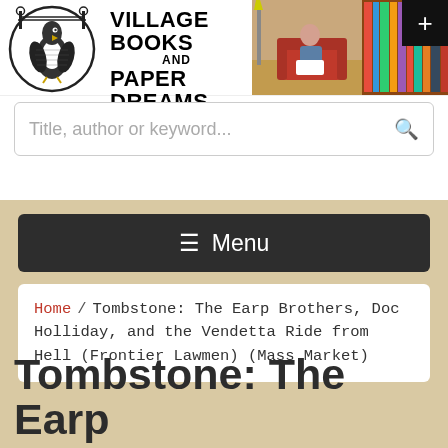[Figure (logo): Village Books and Paper Dreams logo with penguin/bird illustration inside oval frame]
VILLAGE BOOKS AND PAPER DREAMS - BUILDING COMMUNITY SINCE 1980
[Figure (photo): Aerial view of bookstore interior with colorful bookshelves and a person sitting reading]
Title, author or keyword...
≡ Menu
Home / Tombstone: The Earp Brothers, Doc Holliday, and the Vendetta Ride from Hell (Frontier Lawmen) (Mass Market)
Tombstone: The Earp